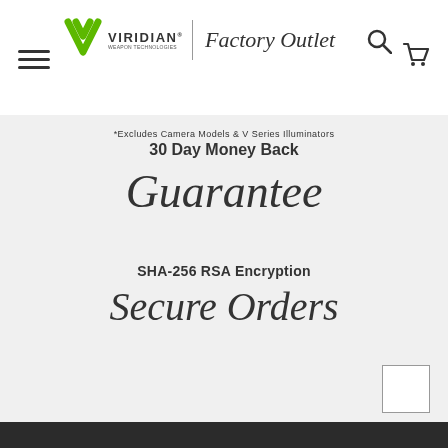[Figure (logo): Viridian Weapon Technologies Factory Outlet logo with green V icon, brand name, and cursive 'Factory Outlet' text]
*Excludes Camera Models & V Series Illuminators
30 Day Money Back
Guarantee
SHA-256 RSA Encryption
Secure Orders